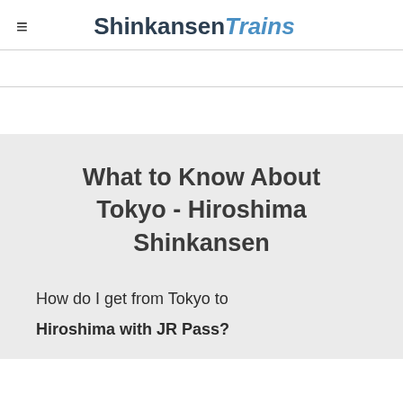≡ ShinkansenTrains
What to Know About Tokyo - Hiroshima Shinkansen
How do I get from Tokyo to Hiroshima with JR Pass?